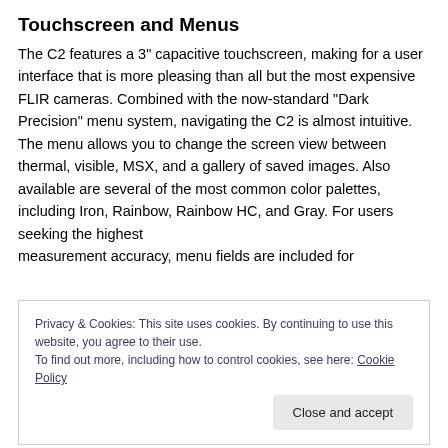Touchscreen and Menus
The C2 features a 3" capacitive touchscreen, making for a user interface that is more pleasing than all but the most expensive FLIR cameras. Combined with the now-standard “Dark Precision” menu system, navigating the C2 is almost intuitive. The menu allows you to change the screen view between thermal, visible, MSX, and a gallery of saved images. Also available are several of the most common color palettes, including Iron, Rainbow, Rainbow HC, and Gray. For users seeking the highest measurement accuracy, menu fields are included for
Privacy & Cookies: This site uses cookies. By continuing to use this website, you agree to their use.
To find out more, including how to control cookies, see here: Cookie Policy
Close and accept